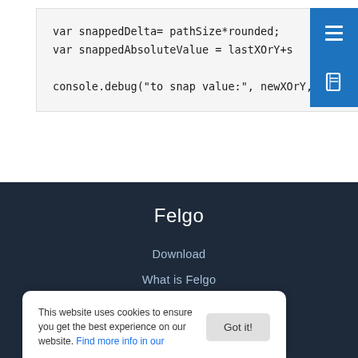[Figure (screenshot): Code block showing JavaScript variables: var snappedDelta= pathSize*rounded; var snappedAbsoluteValue = lastXOrY+s... console.debug('to snap value:', newXOrY, '...')]
Felgo
Download
What is Felgo
Pricing
This website uses cookies to ensure you get the best experience on our website. Find more info in our